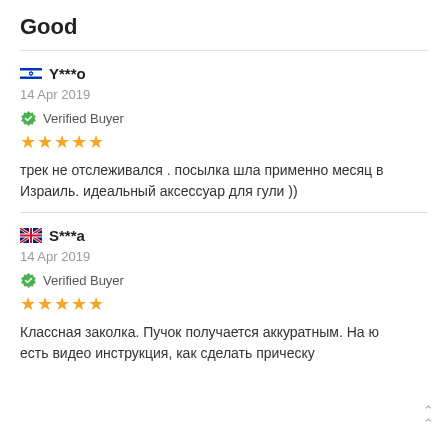Good
Y***o
14 Apr 2019
Verified Buyer
★★★★★
трек не отслеживался . посылка шла применно месяц в Израиль. идеальный аксессуар для гули ))
S***a
14 Apr 2019
Verified Buyer
★★★★★
Классная заколка. Пучок получается аккуратным. На ю есть видео инструкция, как сделать прическу